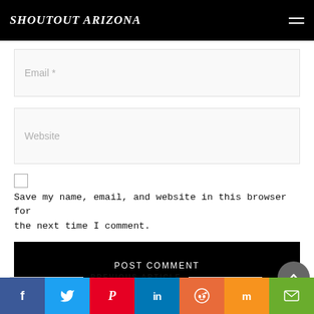SHOUTOUT ARIZONA
Email *
Website
Save my name, email, and website in this browser for the next time I comment.
POST COMMENT
PREVIOUS ARTICLE
[Figure (other): Social sharing bar with icons for Facebook, Twitter, Pinterest, LinkedIn, Reddit, Mix, and Email]